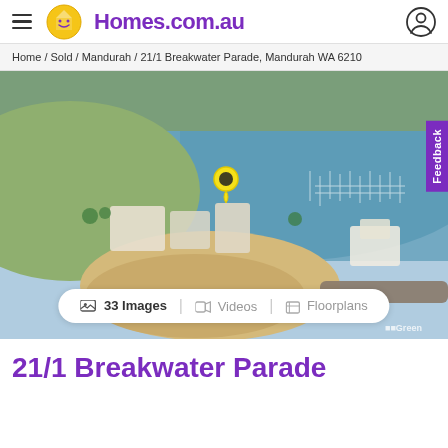Homes.com.au
Home / Sold / Mandurah / 21/1 Breakwater Parade, Mandurah WA 6210
[Figure (photo): Aerial drone photograph of Mandurah waterway and marina area. A yellow and green location pin is visible near the centre marking the property. The image shows a sandy beach, boats moored in a marina, residential buildings, and open water under a clear sky. A purple 'Feedback' tab appears on the right edge. Below the photo is a white pill-shaped bar showing '33 Images | Videos | Floorplans'. A watermark 'Green' is visible at bottom right.]
21/1 Breakwater Parade